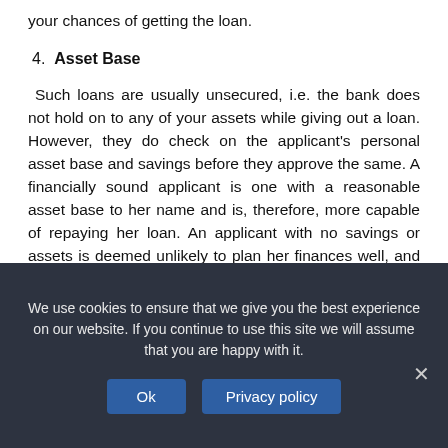your chances of getting the loan.
4. Asset Base
Such loans are usually unsecured, i.e. the bank does not hold on to any of your assets while giving out a loan. However, they do check on the applicant's personal asset base and savings before they approve the same. A financially sound applicant is one with a reasonable asset base to her name and is, therefore, more capable of repaying her loan. An applicant with no savings or assets is deemed unlikely to plan her finances well, and thus, faces the risk of getting a rejected loan application.
We use cookies to ensure that we give you the best experience on our website. If you continue to use this site we will assume that you are happy with it.